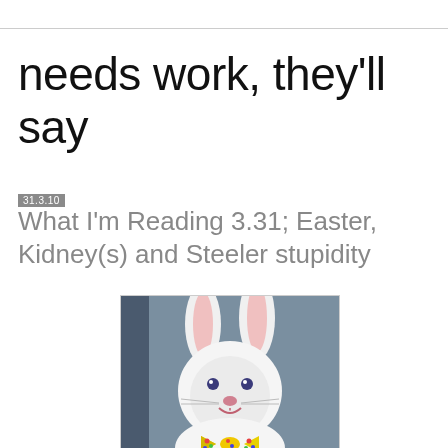needs work, they'll say
31.3.10
What I'm Reading 3.31; Easter, Kidney(s) and Steeler stupidity
[Figure (photo): Person in an Easter Bunny costume — white fur suit with large pink-lined ears, small blue eyes, pink nose, open smiling mouth, and a yellow bow tie with colorful polka dots, posed against a blue-gray background.]